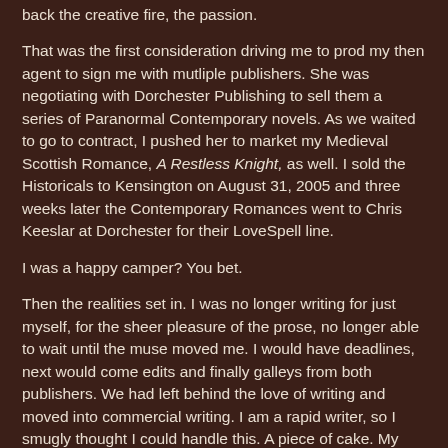back the creative fire, the passion.
That was the first consideration driving me to prod my then agent to sign me with mutliple publishers. She was negotiating with Dorchester Publishing to sell them a series of Paranormal Contemporary novels. As we waited to go to contract, I pushed her to market my Medieval Scottish Romance, A Restless Knight, as well. I sold the Historicals to Kensington on August 31, 2005 and three weeks later the Contemporary Romances went to Chris Keeslar at Dorchester for their LoveSpell line.
I was a happy camper? You bet.
Then the realities set in. I was no longer writing for just myself, for the sheer pleasure of the prose, no longer able to wait until the muse moved me. I would have deadlines, next would come edits and finally galleys from both publishers. We had left behind the love of writing and moved into commercial writing. I am a rapid writer, so I smugly thought I could handle this. A piece of cake. My friend, Lynsay Sands, turns in at least four books and a couple novellas each year.